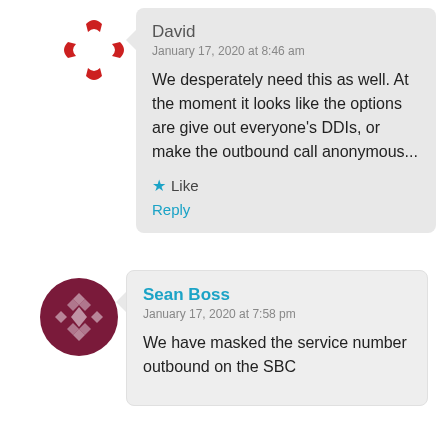David
January 17, 2020 at 8:46 am

We desperately need this as well. At the moment it looks like the options are give out everyone's DDIs, or make the outbound call anonymous...

★ Like
Reply
Sean Boss
January 17, 2020 at 7:58 pm

We have masked the service number outbound on the SBC